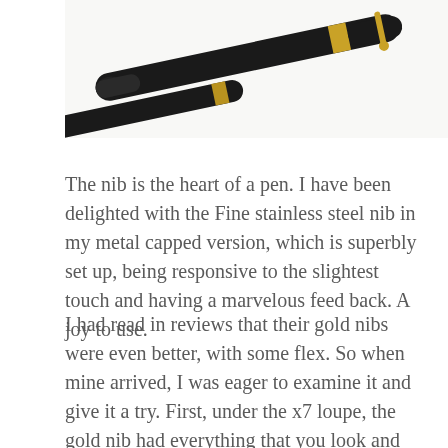[Figure (photo): A black fountain pen with gold trim shown diagonally, partially cropped at the top of the page, on a white background.]
The nib is the heart of a pen. I have been delighted with the Fine stainless steel nib in my metal capped version, which is superbly set up, being responsive to the slightest touch and having a marvelous feed back. A joy to use.
I had read in reviews that their gold nibs were even better, with some flex. So when mine arrived, I was eager to examine it and give it a try. First, under the x7 loupe, the gold nib had everything that you look and hope for in a new nib. It looked to be set up perfectly, with the nib slit narrowing just so, the tipping material being even and the tines level